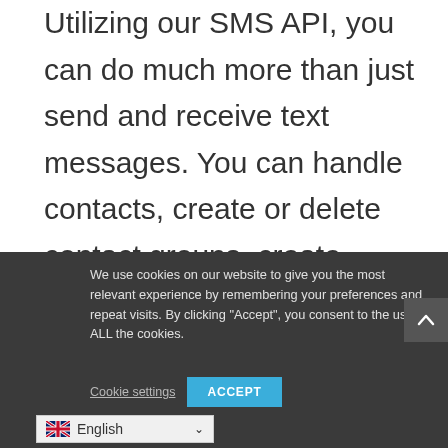Utilizing our SMS API, you can do much more than just send and receive text messages. You can handle contacts, create or delete contact groups, create respond-forward SMS rules, form a short URL, retrieve SMS or MMS balances, and retrieve message reports. Broadband SMS API supports the most varied and flexible use cases across the planet.
We use cookies on our website to give you the most relevant experience by remembering your preferences and repeat visits. By clicking "Accept", you consent to the use of ALL the cookies.
Cookie settings   ACCEPT
FIND INSIGHTS AND ANALYTICS ON YOUR
English